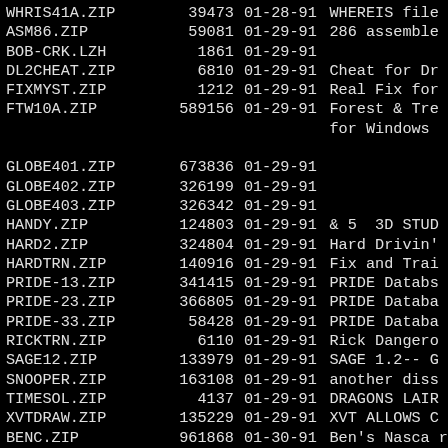| Filename | Size | Date | Description |
| --- | --- | --- | --- |
| WHRIS41A.ZIP | 39473 | 01-28-91 | WHEREIS file |
| ASM86.ZIP | 59081 | 01-29-91 | 286 assemble |
| BOB-CRK.LZH | 1861 | 01-29-91 |  |
| DL2CHEAT.ZIP | 6810 | 01-29-91 | Cheat for Dr |
| FIXMYST.ZIP | 1212 | 01-29-91 | Real Fix for |
| FTW10A.ZIP | 589156 | 01-29-91 | Forest & Tre |
|  |  |  | for Windows |
| GLOBE401.ZIP | 673836 | 01-29-91 |  |
| GLOBE402.ZIP | 326199 | 01-29-91 |  |
| GLOBE403.ZIP | 326342 | 01-29-91 |  |
| HANDY.ZIP | 124803 | 01-29-91 | & 5  3D STUD |
| HARD2.ZIP | 324804 | 01-29-91 | Hard Drivin' |
| HARDTRN.ZIP | 140916 | 01-29-91 | Fix and Trai |
| PRIDE-13.ZIP | 341415 | 01-29-91 | PRIDE Databs |
| PRIDE-23.ZIP | 366805 | 01-29-91 | PRIDE Databa |
| PRIDE-33.ZIP | 58428 | 01-29-91 | PRIDE Databa |
| RICKTRN.ZIP | 6110 | 01-29-91 | Rick Dangero |
| SAGE12.ZIP | 133979 | 01-29-91 | SAGE 1.2-- G |
| SNOOPER.ZIP | 163108 | 01-29-91 | another diss |
| TIMESOL.ZIP | 4137 | 01-29-91 | DRAGONS LAIR |
| XVTDRAW.ZIP | 135229 | 01-29-91 | XVT ALLOWS C |
| BENC.ZIP | 961868 | 01-30-91 | Ben's Nasca r |
| BOMB20.ZIP | 134447 | 01-30-91 | VGA Tank War |
| ELVSPELL.ZIP | 8324 | 01-30-91 |  |
| GLF122-1.ZIP | 182895 | 01-30-91 | GreenLeaf Co |